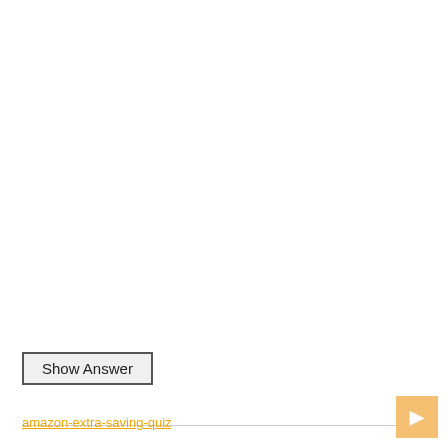Show Answer
amazon-extra-saving-quiz